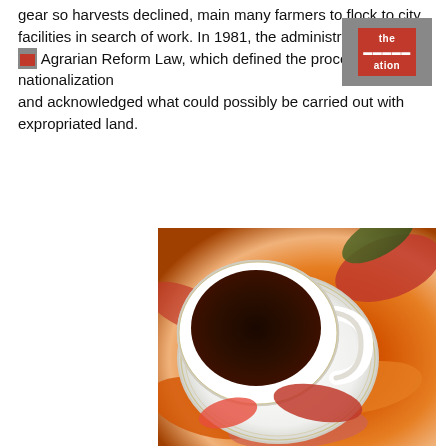gear so harvests declined, main many farmers to flock to city facilities in search of work. In 1981, the administration passed the Agrarian Reform Law, which defined the process of nationalization and acknowledged what could possibly be carried out with expropriated land.
[Figure (photo): Overhead view of a white ceramic coffee cup filled with dark coffee, resting on a white saucer, surrounded by autumn leaves in shades of red, orange, and yellow.]